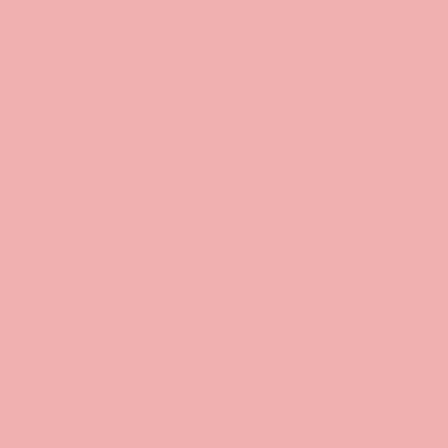Sashs Sloan: Only Child (R... 16] - indie pop
Sloth Racket: Exabout: Live Ramsgate (Luminous) - jazz...
Slotface: Sorry for the Late... (Propeller) [01-31] - alt/indie
Slow Pulp: Moveys (Winspe... 09] - alt/indie
The Slow Readers Club: 91... in Isolation (SRC) [10-23]
Slow Reels: Farewell Island... Music) [03-13] - ambient
Slowgold: Aska (PlayGroun... [02-21] - pop
The Slugs: Don't Touch Me Too Slimy (2214099 DK -18... 12-01] - punk
Slum of Legs: Slum of Legs... (Spurge) [03-13] - punk
Sly and the Famiy Drone: ... Dry (Love Love) [07-17] - a...
Small Bills: Don't Play It S... (Mello Music Group) [10-30... hop
Smartbomb: Water for the...